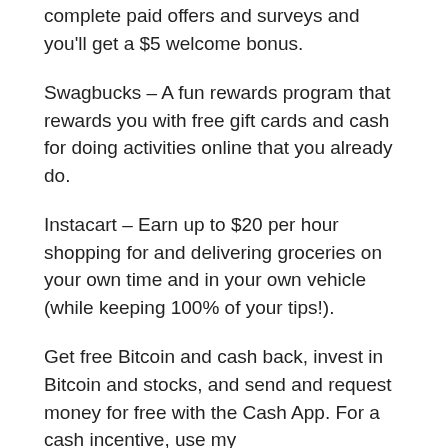complete paid offers and surveys and you'll get a $5 welcome bonus.
Swagbucks – A fun rewards program that rewards you with free gift cards and cash for doing activities online that you already do.
Instacart – Earn up to $20 per hour shopping for and delivering groceries on your own time and in your own vehicle (while keeping 100% of your tips!).
Get free Bitcoin and cash back, invest in Bitcoin and stocks, and send and request money for free with the Cash App. For a cash incentive, use my